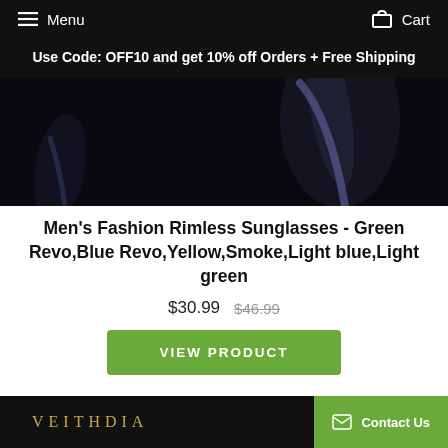Menu   Cart
Use Code: OFF10 and get 10% off Orders + Free Shipping
[Figure (photo): Dark close-up product photo of men's rimless sunglasses against black background, showing lens and temple arm.]
Men's Fashion Rimless Sunglasses - Green Revo,Blue Revo,Yellow,Smoke,Light blue,Light green
$30.99  $46.99
VIEW PRODUCT
VEITHDIA   Contact Us